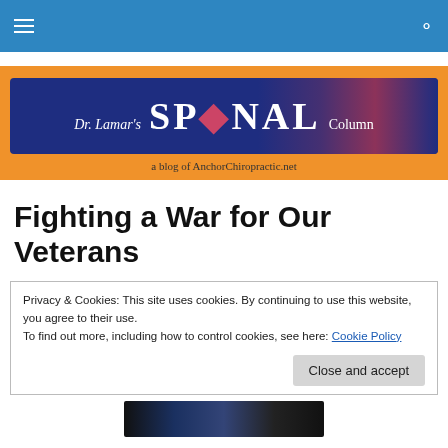Navigation bar with hamburger menu and search icon
[Figure (logo): Dr. Lamar's SPINAL Column blog logo on dark blue background with orange border area, subtitle: a blog of AnchorChiropractic.net]
Fighting a War for Our Veterans
Privacy & Cookies: This site uses cookies. By continuing to use this website, you agree to their use.
To find out more, including how to control cookies, see here: Cookie Policy
[Close and accept]
[Figure (photo): Partial photo at bottom of page showing a group of people]